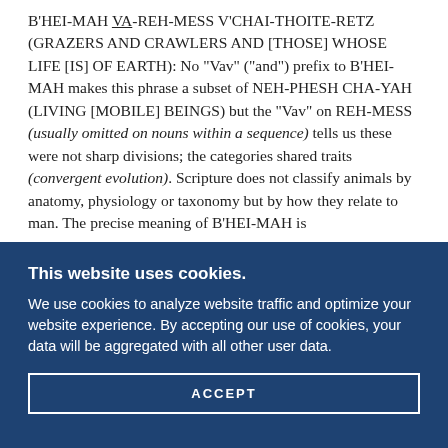B'HEI-MAH VA-REH-MESS V'CHAI-THOITE-RETZ (GRAZERS AND CRAWLERS AND [THOSE] WHOSE LIFE [IS] OF EARTH): No "Vav" ("and") prefix to B'HEI-MAH makes this phrase a subset of NEH-PHESH CHA-YAH (LIVING [MOBILE] BEINGS) but the "Vav" on REH-MESS (usually omitted on nouns within a sequence) tells us these were not sharp divisions; the categories shared traits (convergent evolution). Scripture does not classify animals by anatomy, physiology or taxonomy but by how they relate to man. The precise meaning of B'HEI-MAH is
This website uses cookies.
We use cookies to analyze website traffic and optimize your website experience. By accepting our use of cookies, your data will be aggregated with all other user data.
ACCEPT